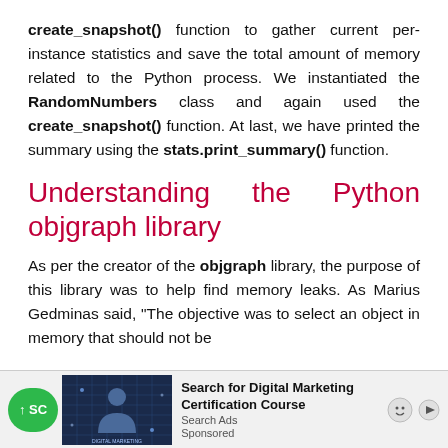create_snapshot() function to gather current per-instance statistics and save the total amount of memory related to the Python process. We instantiated the RandomNumbers class and again used the create_snapshot() function. At last, we have printed the summary using the stats.print_summary() function.
Understanding the Python objgraph library
As per the creator of the objgraph library, the purpose of this library was to help find memory leaks. As Marius Gedminas said, "The objective was to select an object in memory that should not be alive...
[Figure (other): Advertisement banner at bottom: green scroll button, tech image, 'Search for Digital Marketing Certification Course' ad with Search Ads label and face/play icons, Sponsored label]